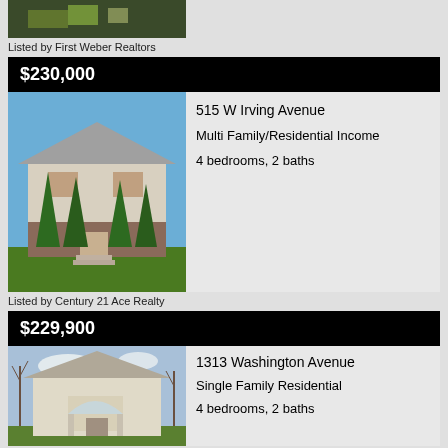[Figure (photo): Aerial/top view of a property with green foliage]
Listed by First Weber Realtors
$230,000
[Figure (photo): Two-story house with white siding, red brick lower level, tall green arborvitae trees, front steps]
515 W Irving Avenue
Multi Family/Residential Income
4 bedrooms, 2 baths
Listed by Century 21 Ace Realty
$229,900
[Figure (photo): Two-story white house with arched window detail on front porch, bare trees in foreground]
1313 Washington Avenue
Single Family Residential
4 bedrooms, 2 baths